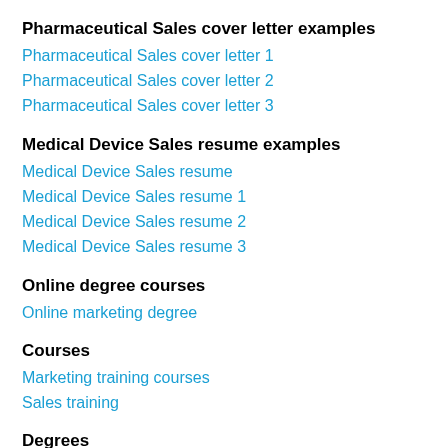Pharmaceutical Sales cover letter examples
Pharmaceutical Sales cover letter 1
Pharmaceutical Sales cover letter 2
Pharmaceutical Sales cover letter 3
Medical Device Sales resume examples
Medical Device Sales resume
Medical Device Sales resume 1
Medical Device Sales resume 2
Medical Device Sales resume 3
Online degree courses
Online marketing degree
Courses
Marketing training courses
Sales training
Degrees